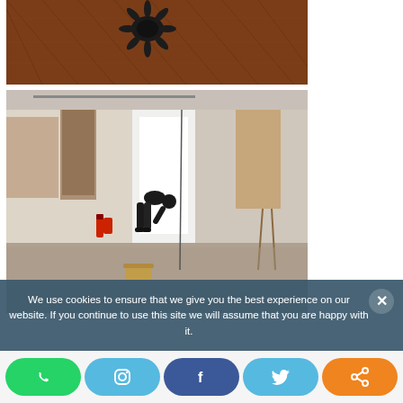[Figure (photo): Close-up photo of a dark sculptural object (resembling a spider or flower) on a herringbone wood parquet floor, warm brown tones]
[Figure (photo): Gallery interior with a person dressed in black crouching/bending forward in the center of the room, hanging textile works on the walls, wooden floors, fire extinguisher visible]
We use cookies to ensure that we give you the best experience on our website. If you continue to use this site we will assume that you are happy with it.